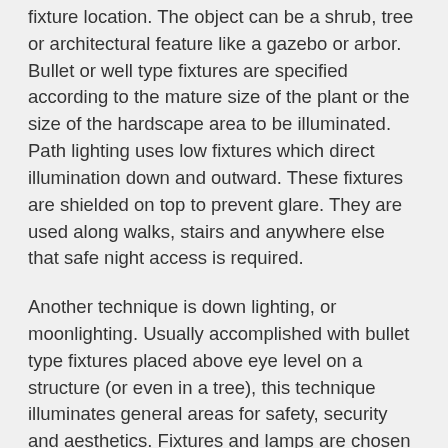fixture location. The object can be a shrub, tree or architectural feature like a gazebo or arbor. Bullet or well type fixtures are specified according to the mature size of the plant or the size of the hardscape area to be illuminated. Path lighting uses low fixtures which direct illumination down and outward. These fixtures are shielded on top to prevent glare. They are used along walks, stairs and anywhere else that safe night access is required.
Another technique is down lighting, or moonlighting. Usually accomplished with bullet type fixtures placed above eye level on a structure (or even in a tree), this technique illuminates general areas for safety, security and aesthetics. Fixtures and lamps are chosen for the required brightness and width of illumination. Backlighting, or silhouette lighting, provides a special effect by illuminating a fairly large surface (like a wall) using a wash light fixture. This causes objects in front of the lighting to appear as silhouettes. The technique of shadowing also uses lights directed toward walls, but they are placed in front of the objects, so shadows play on the wall. Numerous other techniques and combinations of techniques...